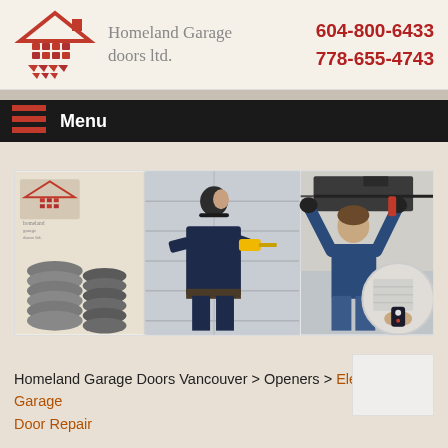[Figure (logo): Homeland Garage Doors Ltd. logo with house icon and red brick/chevron design]
604-800-6433
778-655-4743
Menu
[Figure (photo): Composite banner showing garage door springs, technician drilling on garage door, technician repairing opener, and remote control with circular garage door background]
Homeland Garage Doors Vancouver > Openers > Electric Garage Door Repair